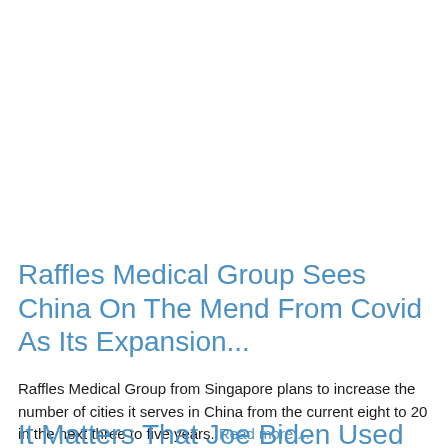Raffles Medical Group Sees China On The Mend From Covid As Its Expansion...
Raffles Medical Group from Singapore plans to increase the number of cities it serves in China from the current eight to 20 in the next three to five years. Read more ...
It Matters That Joe Biden Used the F-Word